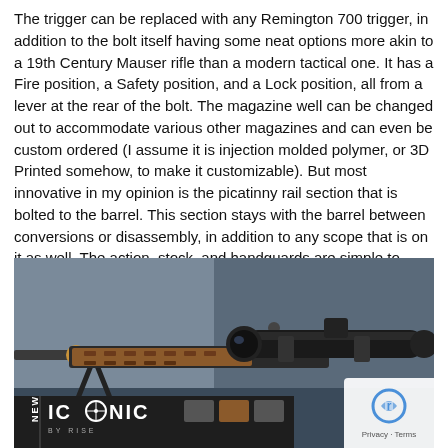The trigger can be replaced with any Remington 700 trigger, in addition to the bolt itself having some neat options more akin to a 19th Century Mauser rifle than a modern tactical one. It has a Fire position, a Safety position, and a Lock position, all from a lever at the rear of the bolt. The magazine well can be changed out to accommodate various other magazines and can even be custom ordered (I assume it is injection molded polymer, or 3D Printed somehow, to make it customizable). But most innovative in my opinion is the picatinny rail section that is bolted to the barrel. This section stays with the barrel between conversions or disassembly, in addition to any scope that is on it as well. The action, stock, and handguards are simple to disassemble.
[Figure (photo): Close-up photo of a tactical bolt-action rifle on a bipod, showing a brown/tan handguard with M-LOK slots, a scope mounted on the picatinny rail, and a bolt handle. An ICONIC by RISE advertisement banner is overlaid at the bottom of the image. A reCAPTCHA/Privacy badge appears in the bottom right corner.]